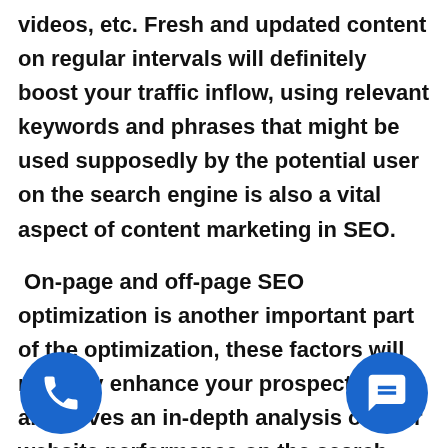videos, etc. Fresh and updated content on regular intervals will definitely boost your traffic inflow, using relevant keywords and phrases that might be used supposedly by the potential user on the search engine is also a vital aspect of content marketing in SEO.
On-page and off-page SEO optimization is another important part of the optimization, these factors will not only enhance your prospects but also gives an in-depth analysis of your website performance on the search engine results. Things like title tag, meta descriptions, internal links, headings will prosper your SEO by leaps and bounds. Building a well-optimized website